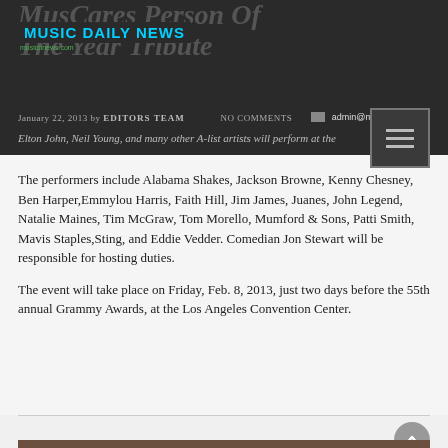MUSIC DAILY NEWS | musicdnews.com
MusiCares Person Of The Year Tribute
January 22, 2013 by EDITORS TEAM | NO COMMENTS | admin@musicdnews.net
Elton John, Neil Young, and many other A-list artists will perform at the
The performers include Alabama Shakes, Jackson Browne, Kenny Chesney, Ben Harper, Emmylou Harris, Faith Hill, Jim James, Juanes, John Legend, Natalie Maines, Tim McGraw, Tom Morello, Mumford & Sons, Patti Smith, Mavis Staples, Sting, and Eddie Vedder. Comedian Jon Stewart will be responsible for hosting duties.
The event will take place on Friday, Feb. 8, 2013, just two days before the 55th annual Grammy Awards, at the Los Angeles Convention Center.